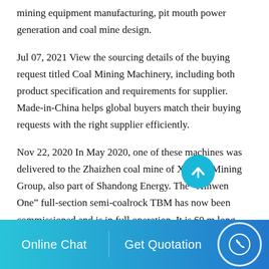mining equipment manufacturing, pit mouth power generation and coal mine design.
Jul 07, 2021 View the sourcing details of the buying request titled Coal Mining Machinery, including both product specification and requirements for supplier. Made-in-China helps global buyers match their buying requests with the right supplier efficiently.
Nov 22, 2020 In May 2020, one of these machines was delivered to the Zhaizhen coal mine of Xinwen Mining Group, also part of Shandong Energy. The “Xinwen One” full-section semi-coalrock TBM has now been commissioned and is in full operation. It is 60 m long and its 4-piece compound cutter disc has a diameter of 4.5 m.
Online Chat | Get Quotation